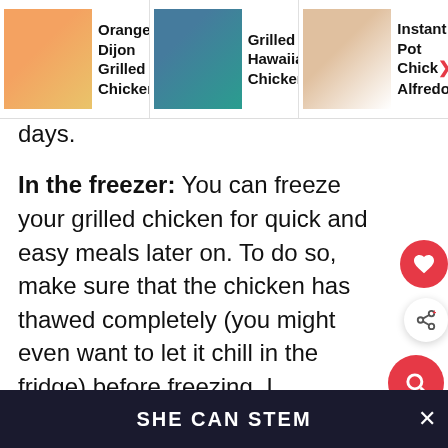[Figure (screenshot): Top navigation banner with three recipe cards: 'Orange Dijon Grilled Chicken', 'Grilled Hawaiian Chicken...', 'Instant Pot Chicken Alfredo']
days.
In the freezer: You can freeze your grilled chicken for quick and easy meals later on. To do so, make sure that the chicken has thawed completely (you might even want to let it chill in the fridge) before freezing. I recommend slicing the chicken into smaller pieces. Then, wrap it tightly in plastic wrap and place it in a ziploc bag.
When you're ready to eat your frozen chicken, be sure to let it thaw out completely in the fridge, then he
SHE CAN STEM